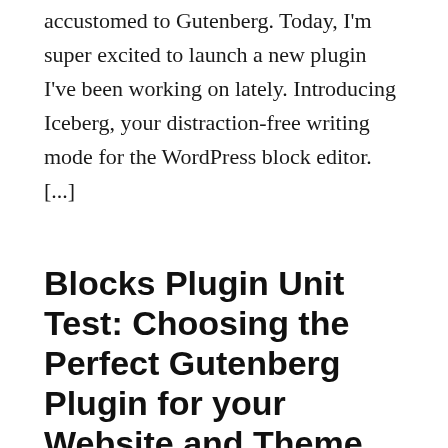accustomed to Gutenberg. Today, I'm super excited to launch a new plugin I've been working on lately. Introducing Iceberg, your distraction-free writing mode for the WordPress block editor. [...]
Blocks Plugin Unit Test: Choosing the Perfect Gutenberg Plugin for your Website and Theme
Updated December 3, 2019